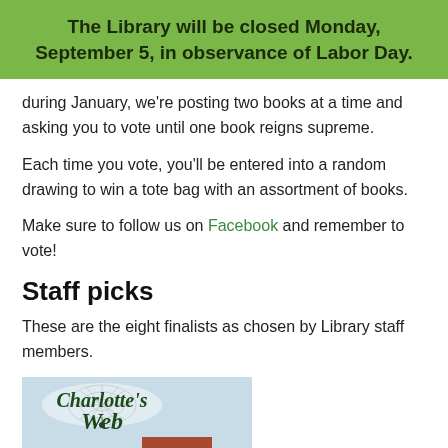The Library will be closed Monday, September 5, in observance of Labor Day.
during January, we're posting two books at a time and asking you to vote until one book reigns supreme.
Each time you vote, you'll be entered into a random drawing to win a tote bag with an assortment of books.
Make sure to follow us on Facebook and remember to vote!
Staff picks
These are the eight finalists as chosen by Library staff members.
[Figure (illustration): Book cover of Charlotte's Web showing title text in decorative script style with a girl and farm scene, 60th anniversary edition badge visible]